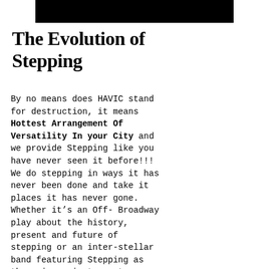[Figure (other): Black rectangular bar at top of page, centered]
The Evolution of Stepping
By no means does HAVIC stand for destruction, it means Hottest Arrangement Of Versatility In your City and we provide Stepping like you have never seen it before!!! We do stepping in ways it has never been done and take it places it has never gone. Whether it’s an Off- Broadway play about the history, present and future of stepping or an inter-stellar band featuring Stepping as the primary instrument, H.A.V.I.C. SQUARED is always pushing the bounds of Stepping creativity. To see the Stepping creativity...